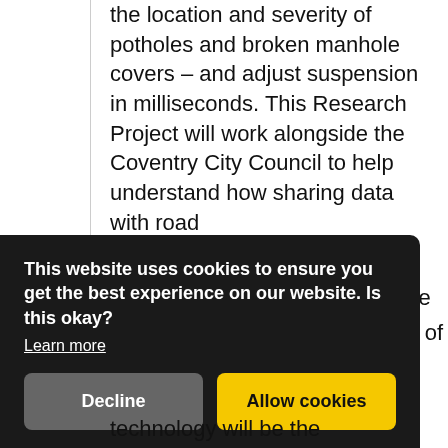the location and severity of potholes and broken manhole covers – and adjust suspension in milliseconds. This Research Project will work alongside the Coventry City Council to help understand how sharing data with road authorities could reduce the quality of technology will be the
This website uses cookies to ensure you get the best experience on our website. Is this okay?
Learn more